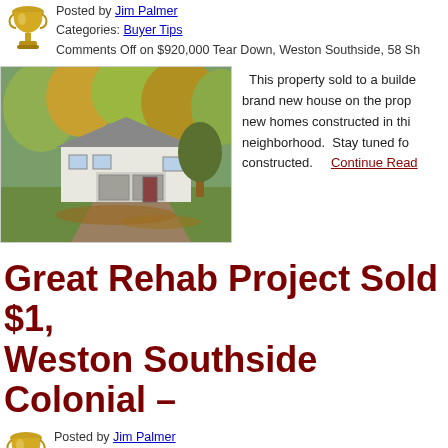Posted by Jim Palmer
Categories: Buyer Tips
Comments Off on $920,000 Tear Down, Weston Southside, 58 Sh...
[Figure (photo): Photo of a suburban split-level house with a two-car garage, surrounded by autumn trees with fallen leaves on the driveway.]
This property sold to a builder who will construct a brand new house on the property. One of several new homes constructed in this neighborhood. Stay tuned for updates as it is being constructed. Continue Reading...
Great Rehab Project Sold $1,... Weston Southside Colonial – ...
Posted by Jim Palmer
Categories: Buyer Tips
Comments Off on Great Rehab Project Sold $1,550,000 – Weston...
[Figure (photo): Partial photo of another suburban property, partially visible at the bottom of the page.]
On a quiet lane in a prime south side n...